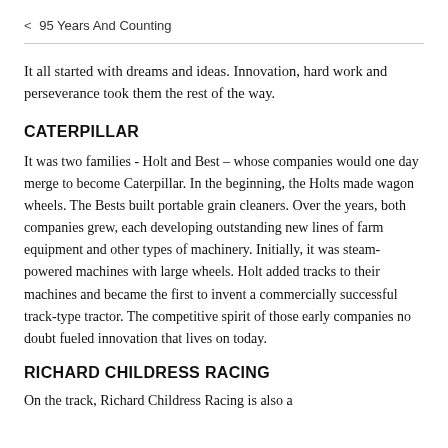< 95 Years And Counting
It all started with dreams and ideas. Innovation, hard work and perseverance took them the rest of the way.
CATERPILLAR
It was two families - Holt and Best – whose companies would one day merge to become Caterpillar. In the beginning, the Holts made wagon wheels. The Bests built portable grain cleaners. Over the years, both companies grew, each developing outstanding new lines of farm equipment and other types of machinery. Initially, it was steam-powered machines with large wheels. Holt added tracks to their machines and became the first to invent a commercially successful track-type tractor. The competitive spirit of those early companies no doubt fueled innovation that lives on today.
RICHARD CHILDRESS RACING
On the track, Richard Childress Racing is also a